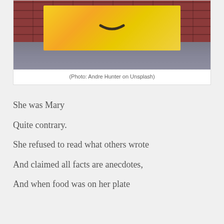[Figure (photo): A yellow square object with a frown face against a brick wall background, resting on a concrete surface]
(Photo: Andre Hunter on Unsplash)
She was Mary
Quite contrary.
She refused to read what others wrote
And claimed all facts are anecdotes,
And when food was on her plate